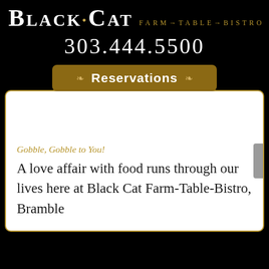Black Cat Farm→Table→Bistro
303.444.5500
Reservations
Gobble, Gobble to You!
A love affair with food runs through our lives here at Black Cat Farm-Table-Bistro, Bramble and Hare, and Black Cat Farm...